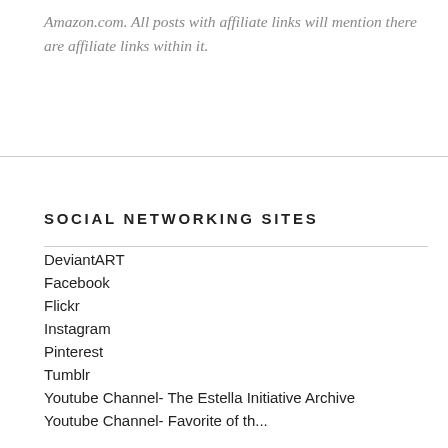Amazon.com. All posts with affiliate links will mention there are affiliate links within it.
SOCIAL NETWORKING SITES
DeviantART
Facebook
Flickr
Instagram
Pinterest
Tumblr
Youtube Channel- The Estella Initiative Archive
Youtube Channel- Favorite of th...